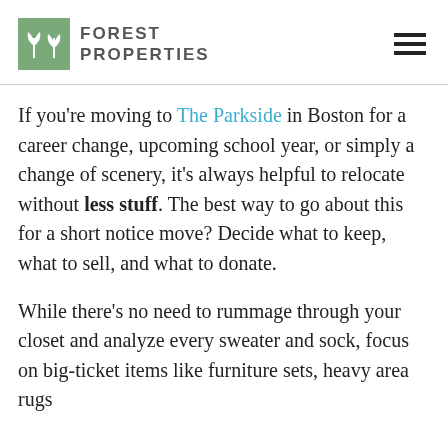FOREST PROPERTIES
If you're moving to The Parkside in Boston for a career change, upcoming school year, or simply a change of scenery, it's always helpful to relocate without less stuff. The best way to go about this for a short notice move? Decide what to keep, what to sell, and what to donate.
While there's no need to rummage through your closet and analyze every sweater and sock, focus on big-ticket items like furniture sets, heavy area rugs